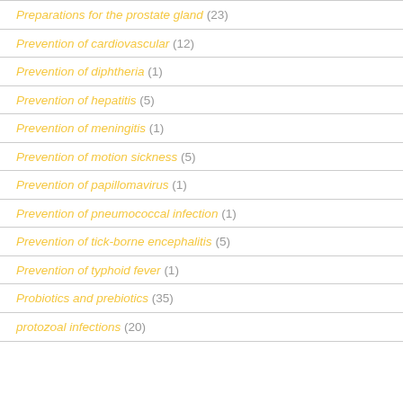Preparations for the prostate gland (23)
Prevention of cardiovascular (12)
Prevention of diphtheria (1)
Prevention of hepatitis (5)
Prevention of meningitis (1)
Prevention of motion sickness (5)
Prevention of papillomavirus (1)
Prevention of pneumococcal infection (1)
Prevention of tick-borne encephalitis (5)
Prevention of typhoid fever (1)
Probiotics and prebiotics (35)
protozoal infections (20)